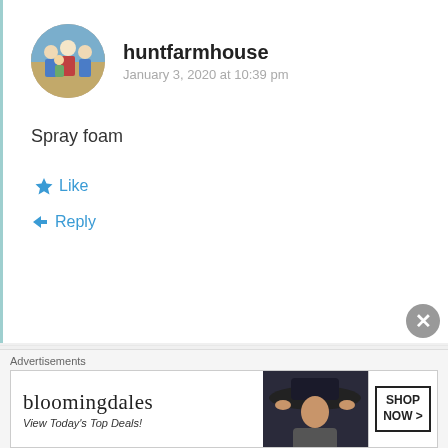huntfarmhouse
January 3, 2020 at 10:39 pm
Spray foam
Like
Reply
[Figure (photo): Circular avatar photo of a family group]
Whitney
[Figure (illustration): Green decorative avatar icon for Whitney]
Advertisements
[Figure (photo): Bloomingdale's advertisement banner with woman in hat and Shop Now button]